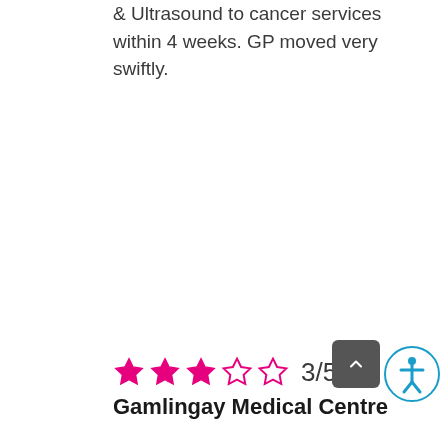& Ultrasound to cancer services within 4 weeks. GP moved very swiftly.
[Figure (other): Star rating showing 3 out of 5 filled pink stars followed by '3/5' text]
Gamlingay Medical Centre